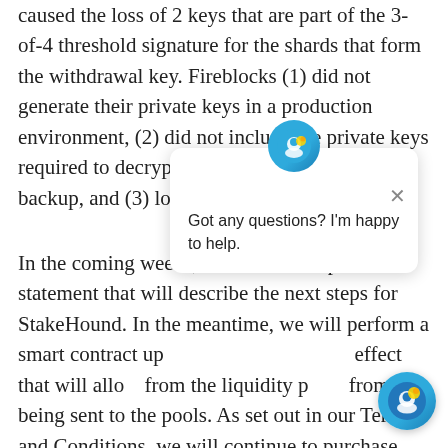caused the loss of 2 keys that are part of the 3-of-4 threshold signature for the shards that form the withdrawal key. Fireblocks (1) did not generate their private keys in a production environment, (2) did not include the private keys required to decrypt their 2 key shares in the backup, and (3) lost both keys.
In the coming weeks, there will be a public statement that will describe the next steps for StakeHound. In the meantime, we will perform a smart contract update that will have the effect that will allow... from the liquidity pools... from being sent to the pools. As set out in our Terms and Conditions, we will continue to purchase stTokens and distribute staking rewards subject to availability and at our sole discretion.
[Figure (other): Chat widget popup overlay with avatar icon and message 'Got any questions? I'm happy to help.' with a close button, and a circular chat bubble button at bottom right.]